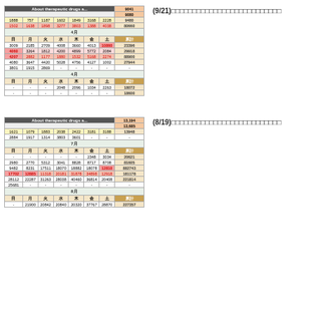[Figure (table-as-image): Table about therapeutic drugs - 9/21 section with rows of numerical data grouped by sub-sections]
(9/21)□□□□□□□□□□□□□□□□□□□□□□□□□□
[Figure (table-as-image): Table about therapeutic drugs - 8/19 section with rows of numerical data grouped by sub-sections]
(8/19)□□□□□□□□□□□□□□□□□□□□□□□□□□